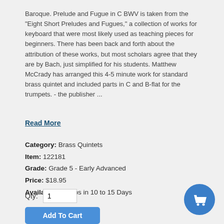Baroque. Prelude and Fugue in C BWV is taken from the "Eight Short Preludes and Fugues," a collection of works for keyboard that were most likely used as teaching pieces for beginners. There has been back and forth about the attribution of these works, but most scholars agree that they are by Bach, just simplified for his students. Matthew McCrady has arranged this 4-5 minute work for standard brass quintet and included parts in C and B-flat for the trumpets. - the publisher ...
Read More
Category: Brass Quintets
Item: 122181
Grade: Grade 5 - Early Advanced
Price: $18.95
Availability: Ships in 10 to 15 Days
Qty: 1
Add To Cart